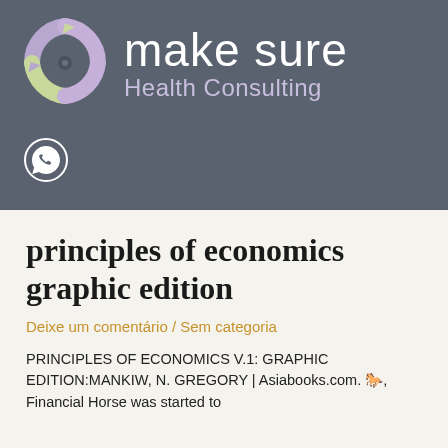[Figure (logo): Make Sure Health Consulting logo with circular recycling-style arrow icon in purple/green and white text on dark grey background]
[Figure (logo): WhatsApp icon (circular chat bubble with phone receiver) in white on dark grey background]
principles of economics graphic edition
Deixe um comentário / Sem categoria
PRINCIPLES OF ECONOMICS V.1: GRAPHIC EDITION:MANKIW, N. GREGORY | Asiabooks.com. 🐎, Financial Horse was started to